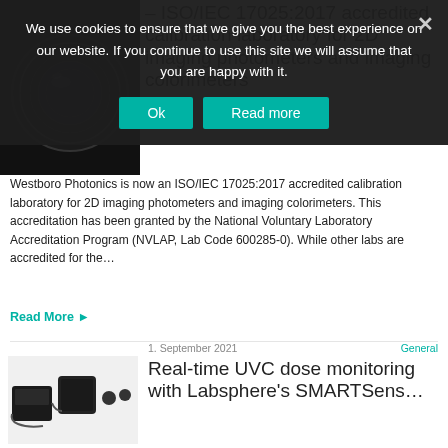We use cookies to ensure that we give you the best experience on our website. If you continue to use this site we will assume that you are happy with it.
[Figure (photo): Camera lens photograph on dark background]
– ISO/IEC 17025:2017 accredited calibration laboratory for 2D imaging photometers and imaging colorimeters
Westboro Photonics is now an ISO/IEC 17025:2017 accredited calibration laboratory for 2D imaging photometers and imaging colorimeters. This accreditation has been granted by the National Voluntary Laboratory Accreditation Program (NVLAP, Lab Code 600285-0). While other labs are accredited for the…
Read More
1. September 2021
General
[Figure (photo): UVC monitoring equipment - SMARTSense devices]
Real-time UVC dose monitoring with Labsphere's SMARTSens…